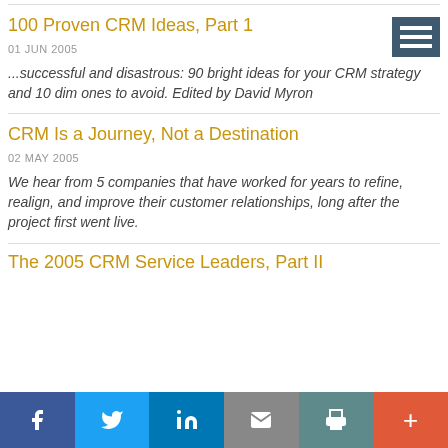100 Proven CRM Ideas, Part 1
01 JUN 2005
...successful and disastrous: 90 bright ideas for your CRM strategy and 10 dim ones to avoid. Edited by David Myron
CRM Is a Journey, Not a Destination
02 MAY 2005
We hear from 5 companies that have worked for years to refine, realign, and improve their customer relationships, long after the project first went live.
The 2005 CRM Service Leaders, Part II
f  Twitter  in  Email  Print  +